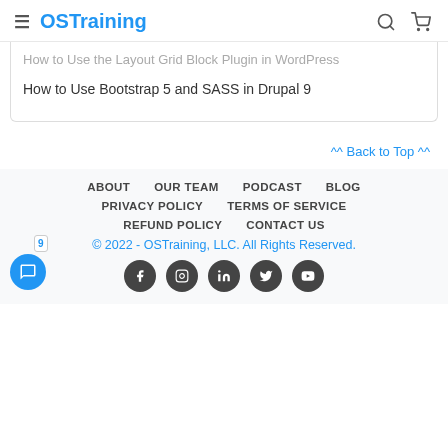OSTraining
How to Use the Layout Grid Block Plugin in WordPress
How to Use Bootstrap 5 and SASS in Drupal 9
^^ Back to Top ^^
ABOUT  OUR TEAM  PODCAST  BLOG  PRIVACY POLICY  TERMS OF SERVICE  REFUND POLICY  CONTACT US  © 2022 - OSTraining, LLC. All Rights Reserved.